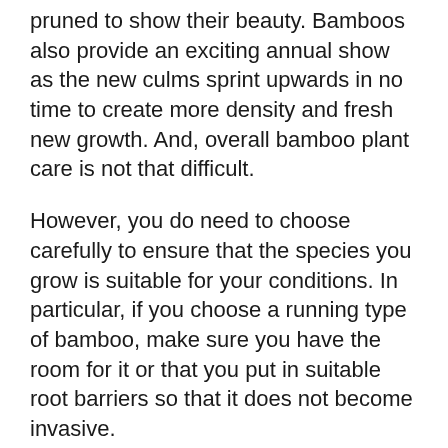pruned to show their beauty. Bamboos also provide an exciting annual show as the new culms sprint upwards in no time to create more density and fresh new growth. And, overall bamboo plant care is not that difficult.
However, you do need to choose carefully to ensure that the species you grow is suitable for your conditions. In particular, if you choose a running type of bamboo, make sure you have the room for it or that you put in suitable root barriers so that it does not become invasive.
Does bamboo re-grow when cut?